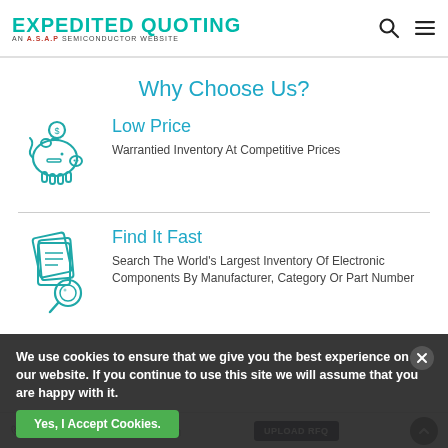EXPEDITED QUOTING — AN A.S.A.P SEMICONDUCTOR WEBSITE
Why Choose Us?
[Figure (illustration): Piggy bank icon with dollar sign, teal outline style]
Low Price
Warrantied Inventory At Competitive Prices
[Figure (illustration): Documents with magnifying glass icon, teal outline style]
Find It Fast
Search The World's Largest Inventory Of Electronic Components By Manufacturer, Category Or Part Number
We use cookies to ensure that we give you the best experience on our website. If you continue to use this site we will assume that you are happy with it.
+1-857-323-5480  UPLOAD RFQ